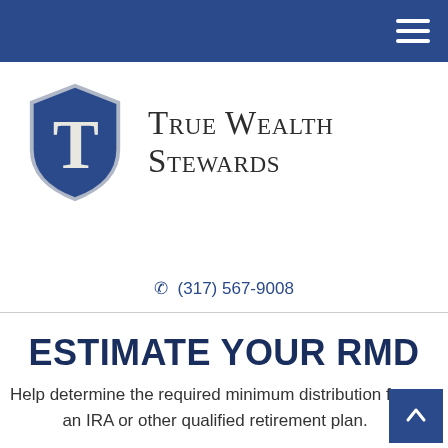Navigation bar with hamburger menu
[Figure (logo): True Wealth Stewards logo: blue shield with white letter T and company name 'True Wealth Stewards' in serif font]
(317) 567-9008
ESTIMATE YOUR RMD
Help determine the required minimum distribution from an IRA or other qualified retirement plan.